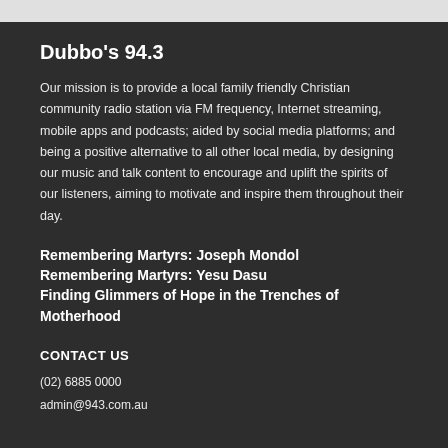Dubbo's 94.3
Our mission is to provide a local family friendly Christian community radio station via FM frequency, Internet streaming, mobile apps and podcasts; aided by social media platforms; and being a positive alternative to all other local media, by designing our music and talk content to encourage and uplift the spirits of our listeners, aiming to motivate and inspire them throughout their day.
Remembering Martyrs: Joseph Mondol
Remembering Martyrs: Yesu Dasu
Finding Glimmers of Hope in the Trenches of Motherhood
CONTACT US
(02) 6885 0000
admin@943.com.au